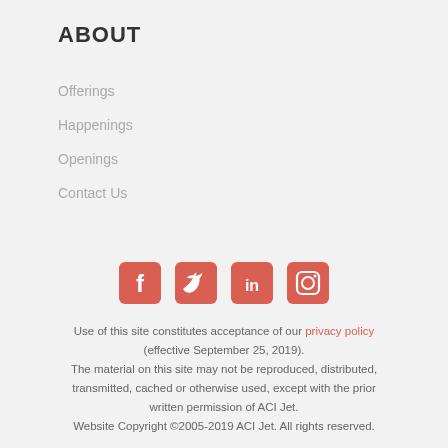ABOUT
Offerings
Happenings
Openings
Contact Us
[Figure (infographic): Four social media icons (Facebook, Twitter, LinkedIn, Instagram) displayed as white icons on red/coral rounded square backgrounds.]
Use of this site constitutes acceptance of our privacy policy (effective September 25, 2019). The material on this site may not be reproduced, distributed, transmitted, cached or otherwise used, except with the prior written permission of ACI Jet. Website Copyright ©2005-2019 ACI Jet. All rights reserved.